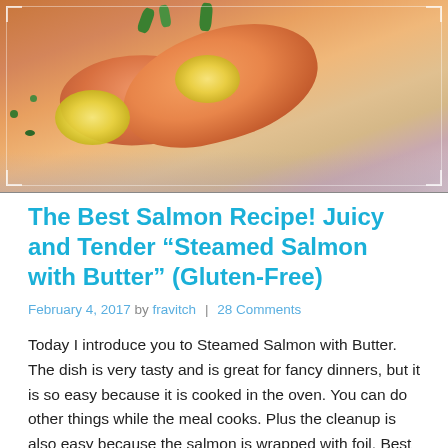[Figure (photo): Cooked salmon fillets on a plate with lemon slices and green onions]
The Best Salmon Recipe! Juicy and Tender “Steamed Salmon with Butter” (Gluten-Free)
February 4, 2017 by fravitch | 28 Comments
Today I introduce you to Steamed Salmon with Butter. The dish is very tasty and is great for fancy dinners, but it is so easy because it is cooked in the oven. You can do other things while the meal cooks. Plus the cleanup is also easy because the salmon is wrapped with foil. Best of all, because the salmon is wrapped and cooked, the dish has great flavor and a very tender and juicy texture, which is